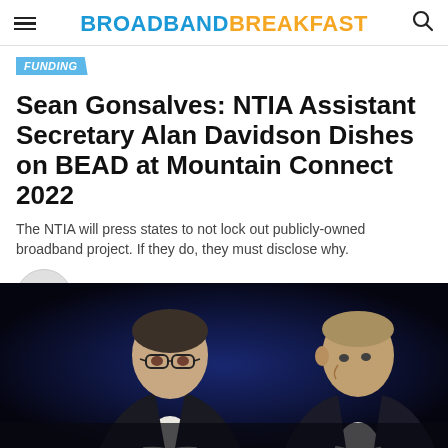BROADBANDBREAKFAST
FUNDING
Sean Gonsalves: NTIA Assistant Secretary Alan Davidson Dishes on BEAD at Mountain Connect 2022
The NTIA will press states to not lock out publicly-owned broadband project. If they do, they must disclose why.
Published 3 months ago on May 24, 2022
By Sean Gonsalves
[Figure (photo): Two men seated on a dark stage, one wearing glasses in a dark suit, the other in a suit with a blue/purple lit background behind them.]